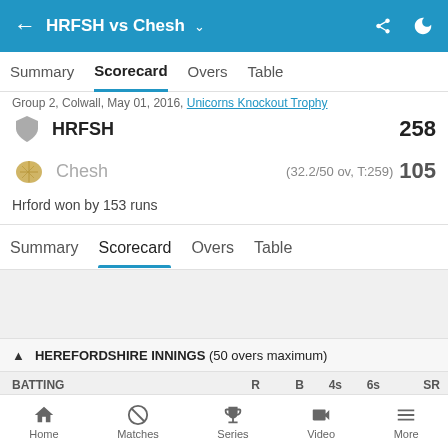HRFSH vs Chesh
Summary  Scorecard  Overs  Table
Group 2, Colwall, May 01, 2016, Unicorns Knockout Trophy
HRFSH 258
Chesh (32.2/50 ov, T:259) 105
Hrford won by 153 runs
Summary  Scorecard  Overs  Table
HEREFORDSHIRE INNINGS (50 overs maximum)
| BATTING | R | B | 4s | 6s | SR |
| --- | --- | --- | --- | --- | --- |
| Matthew Pardoe (c) | 99 | 81 | 9 | 4 | 122.22 |
Home  Matches  Series  Video  More